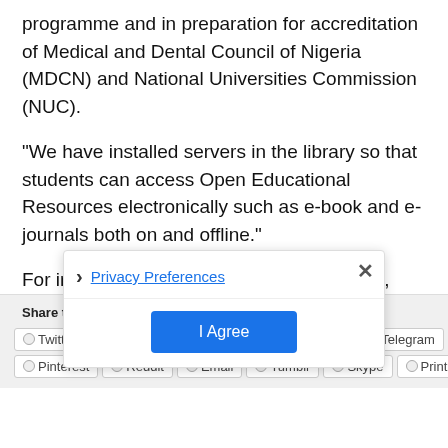programme and in preparation for accreditation of Medical and Dental Council of Nigeria (MDCN) and National Universities Commission (NUC).
“We have installed servers in the library so that students can access Open Educational Resources electronically such as e-book and e-journals both on and offline.”
For information on Press Releases, Photos, Promotional Events and Adverts, Please Call or Send a Text to 09052129258, 08124662170 or send an email to: info@educeleb.com
Share this:
Twitter | Facebook | WhatsApp | Tumblr | Telegram
Pinterest | Reddit | Email | Tumblr | Skype | Print
Privacy Preferences
I Agree